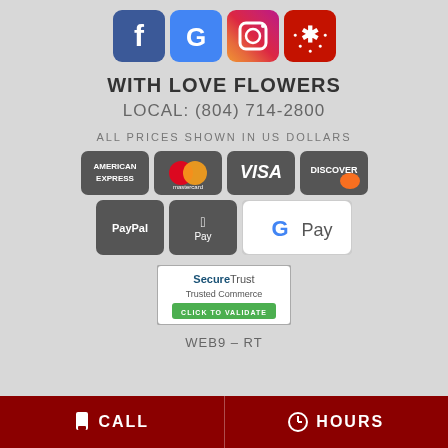[Figure (logo): Social media icons: Facebook, Google, Instagram, Yelp]
WITH LOVE FLOWERS
LOCAL: (804) 714-2800
ALL PRICES SHOWN IN US DOLLARS
[Figure (logo): Payment method logos: American Express, Mastercard, Visa, Discover, PayPal, Apple Pay, Google Pay]
[Figure (logo): SecureTrust Trusted Commerce - Click to Validate badge]
WEB9 - RT
CALL   HOURS